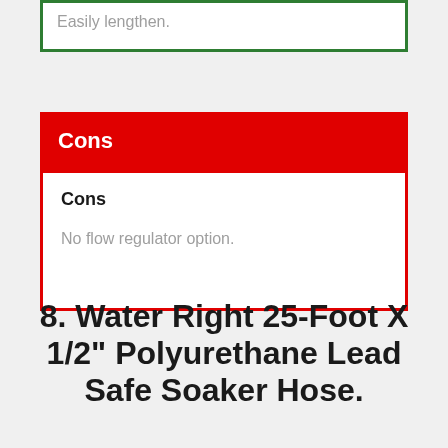Easily lengthen.
Cons
Cons

No flow regulator option.
8. Water Right 25-Foot X 1/2" Polyurethane Lead Safe Soaker Hose.